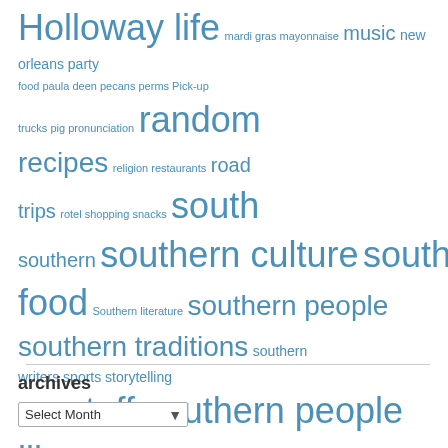[Figure (infographic): Tag cloud featuring Southern/food/culture related tags in varying font sizes, all in blue. Larger tags include: Holloway life, random, recipes, south, southern, southern culture, southern food, southern people, southern traditions, stuff southern people like, thanksgiving. Smaller tags include: mardi gras, mayonnaise, music, new orleans, party, food, paula deen, pecans, perms, Pick-up trucks, pig, pronunciation, religion, restaurants, road trips, rotel, shopping, snacks, Southern literature, southern writers, sports, storytelling, stuckey's, traditions, tv, velveeta, western wear, writing.]
archives
Select Month